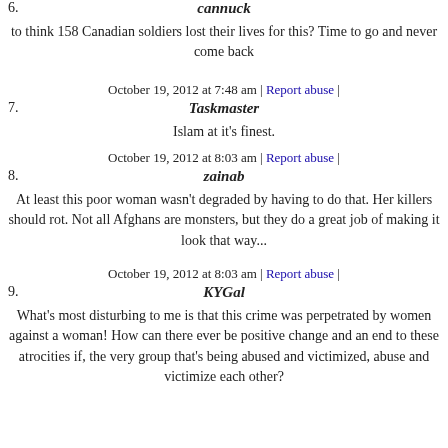6. cannuck
to think 158 Canadian soldiers lost their lives for this? Time to go and never come back
October 19, 2012 at 7:48 am | Report abuse |
7. Taskmaster
Islam at it's finest.
October 19, 2012 at 8:03 am | Report abuse |
8. zainab
At least this poor woman wasn't degraded by having to do that. Her killers should rot. Not all Afghans are monsters, but they do a great job of making it look that way...
October 19, 2012 at 8:03 am | Report abuse |
9. KYGal
What's most disturbing to me is that this crime was perpetrated by women against a woman! How can there ever be positive change and an end to these atrocities if, the very group that's being abused and victimized, abuse and victimize each other?